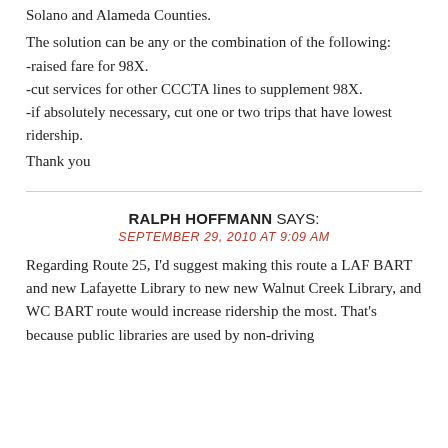Solano and Alameda Counties.
The solution can be any or the combination of the following:
-raised fare for 98X.
-cut services for other CCCTA lines to supplement 98X.
-if absolutely necessary, cut one or two trips that have lowest ridership.
Thank you
RALPH HOFFMANN SAYS:
SEPTEMBER 29, 2010 AT 9:09 AM
Regarding Route 25, I'd suggest making this route a LAF BART and new Lafayette Library to new new Walnut Creek Library, and WC BART route would increase ridership the most. That's because public libraries are used by non-driving